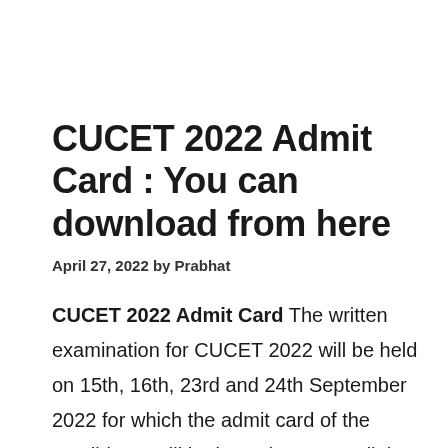CUCET 2022 Admit Card : You can download from here
April 27, 2022 by Prabhat
CUCET 2022 Admit Card The written examination for CUCET 2022 will be held on 15th, 16th, 23rd and 24th September 2022 for which the admit card of the candidates will be issued soon. to all the candidates who applied CUCET